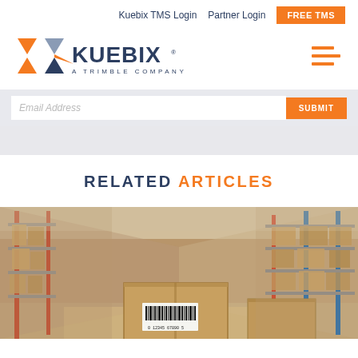Kuebix TMS Login   Partner Login   FREE TMS
[Figure (logo): Kuebix logo with geometric X shape in orange and grey, text KUEBIX A TRIMBLE COMPANY]
[Figure (other): Hamburger/menu icon in orange]
Email Address   SUBMIT
RELATED ARTICLES
[Figure (photo): Warehouse interior with tall metal shelving racks filled with cardboard boxes, a barcode-labeled package in the foreground, blurred background showing aisle perspective]